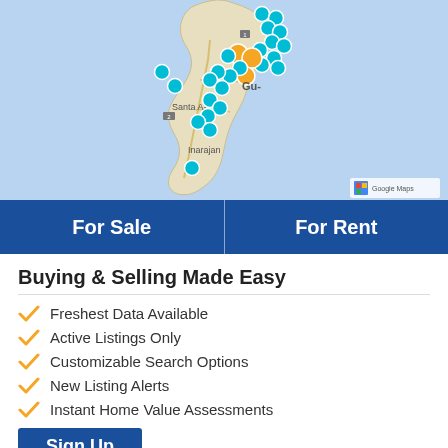[Figure (map): Google Map of Guam island showing property listings as teal/blue and orange circular markers clustered along the island coastline and interior. Ocean shown in light blue. Land shown in light tan/beige. Place names visible: Gu- (Guam), Santa A-, Inarajan. Google Maps logo and attribution visible in lower right of map.]
For Sale
For Rent
Buying & Selling Made Easy
Freshest Data Available
Active Listings Only
Customizable Search Options
New Listing Alerts
Instant Home Value Assessments
Sign Up